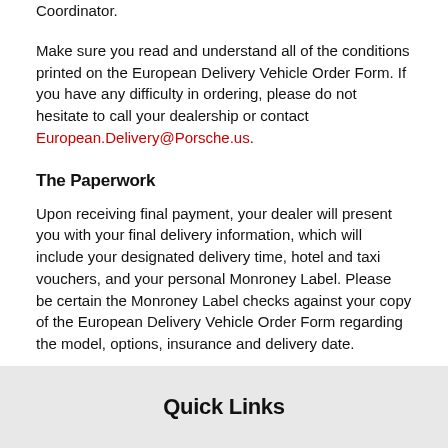Coordinator.
Make sure you read and understand all of the conditions printed on the European Delivery Vehicle Order Form. If you have any difficulty in ordering, please do not hesitate to call your dealership or contact European.Delivery@Porsche.us.
The Paperwork
Upon receiving final payment, your dealer will present you with your final delivery information, which will include your designated delivery time, hotel and taxi vouchers, and your personal Monroney Label. Please be certain the Monroney Label checks against your copy of the European Delivery Vehicle Order Form regarding the model, options, insurance and delivery date.
Quick Links